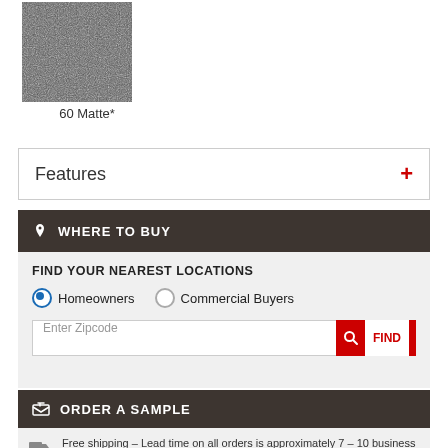[Figure (photo): Dark textured material swatch, approximately square, with a grainy/matte appearance]
60 Matte*
Features +
WHERE TO BUY
FIND YOUR NEAREST LOCATIONS
Homeowners  Commercial Buyers
Enter Zipcode  FIND
ORDER A SAMPLE
Free shipping – Lead time on all orders is approximately 7 – 10 business days. If you would like to expedite your order using your Fed Ex account #, then DO NOT PLACE ORDER